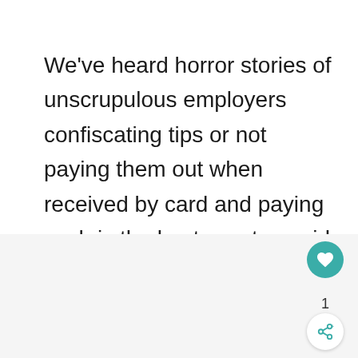We've heard horror stories of unscrupulous employers confiscating tips or not paying them out when received by card and paying cash is the best way to avoid this.
[Figure (other): Bottom panel with like (heart) button showing count of 1 and a share button, on a light grey background]